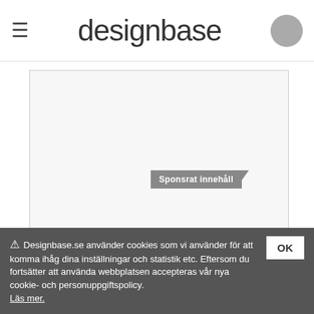designbase
08.08.2022 | Av By Invite Only ApS
Keep it cool
Sponsrat innehåll
Belysning
⚠ Designbase.se använder cookies som vi använder för att komma ihåg dina inställningar och statistik etc. Eftersom du fortsätter att använda webbplatsen accepteras vår nya cookie- och personuppgiftspolicy. Läs mer.